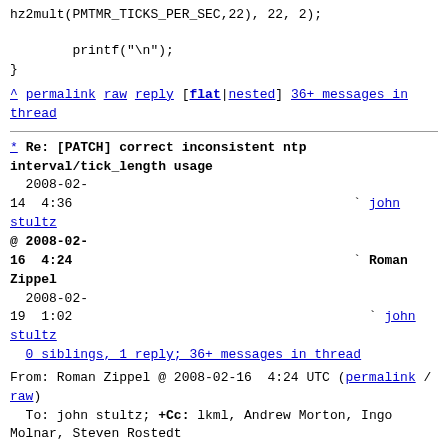hz2mult(PMTMR_TICKS_PER_SEC,22), 22, 2);
        printf("\n");
}
^ permalink raw reply   [flat|nested] 36+ messages in thread
* Re: [PATCH] correct inconsistent ntp interval/tick_length usage
2008-02-14  4:36                                     ` john stultz
@ 2008-02-16  4:24                                     ` Roman Zippel
  2008-02-19  1:02                                       ` john stultz
0 siblings, 1 reply; 36+ messages in thread
From: Roman Zippel @ 2008-02-16  4:24 UTC (permalink / raw)
  To: john stultz; +Cc: lkml, Andrew Morton, Ingo Molnar, Steven Rostedt
Hi,
On Wed, 13 Feb 2008, john stultz wrote:
> Oh! So your issue is that since time_freq is stored in ppm, or in effect
> a usecs per sec offset, when we add it to something